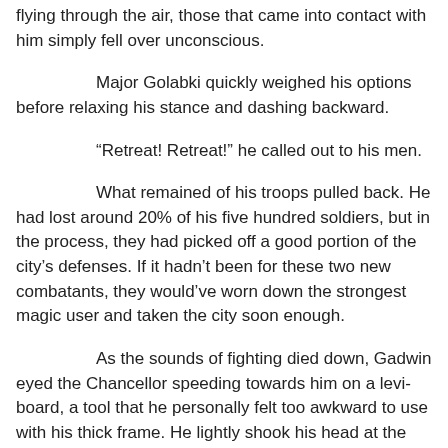flying through the air, those that came into contact with him simply fell over unconscious.
Major Golabki quickly weighed his options before relaxing his stance and dashing backward.
“Retreat! Retreat!” he called out to his men.
What remained of his troops pulled back. He had lost around 20% of his five hundred soldiers, but in the process, they had picked off a good portion of the city's defenses. If it hadn't been for these two new combatants, they would've worn down the strongest magic user and taken the city soon enough.
As the sounds of fighting died down, Gadwin eyed the Chancellor speeding towards him on a levi-board, a tool that he personally felt too awkward to use with his thick frame. He lightly shook his head at the merciful strikes that the other man dished out but quickly forgave him for it was his nature.